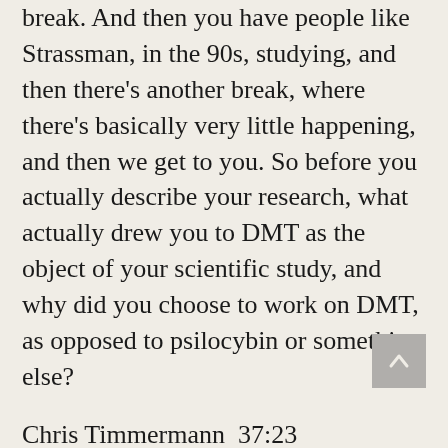break. And then you have people like Strassman, in the 90s, studying, and then there's another break, where there's basically very little happening, and then we get to you. So before you actually describe your research, what actually drew you to DMT as the object of your scientific study, and why did you choose to work on DMT, as opposed to psilocybin or something else?
Chris Timmermann  37:23
Well, DMT, was particularly attractive because it induced induced this very strange experiences is very unique experiences. You know, what we